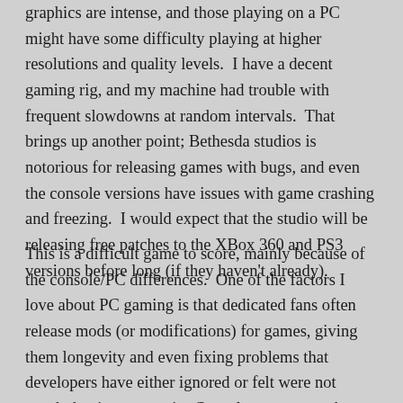graphics are intense, and those playing on a PC might have some difficulty playing at higher resolutions and quality levels.  I have a decent gaming rig, and my machine had trouble with frequent slowdowns at random intervals.  That brings up another point; Bethesda studios is notorious for releasing games with bugs, and even the console versions have issues with game crashing and freezing.  I would expect that the studio will be releasing free patches to the XBox 360 and PS3 versions before long (if they haven't already).
This is a difficult game to score, mainly because of the console/PC differences.  One of the factors I love about PC gaming is that dedicated fans often release mods (or modifications) for games, giving them longevity and even fixing problems that developers have either ignored or felt were not worth the time to repair.  Console gamers, on the